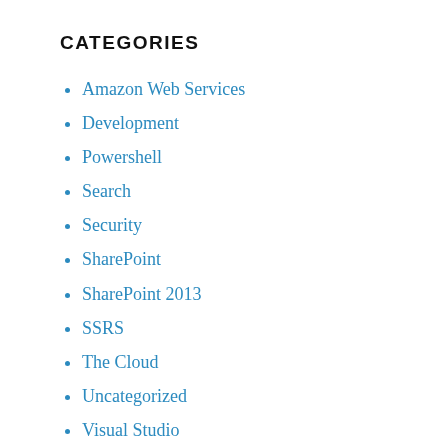CATEGORIES
Amazon Web Services
Development
Powershell
Search
Security
SharePoint
SharePoint 2013
SSRS
The Cloud
Uncategorized
Visual Studio
Windows Azure